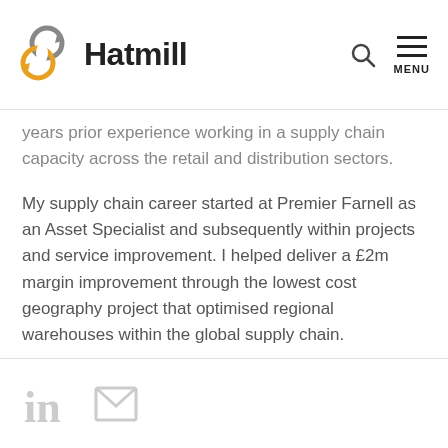Hatmill
years prior experience working in a supply chain capacity across the retail and distribution sectors.
My supply chain career started at Premier Farnell as an Asset Specialist and subsequently within projects and service improvement. I helped deliver a £2m margin improvement through the lowest cost geography project that optimised regional warehouses within the global supply chain.
LinkedIn and email icons